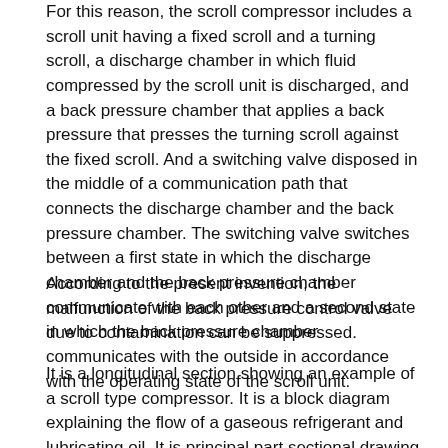For this reason, the scroll compressor includes a scroll unit having a fixed scroll and a turning scroll, a discharge chamber in which fluid compressed by the scroll unit is discharged, and a back pressure chamber that applies a back pressure that presses the turning scroll against the fixed scroll. And a switching valve disposed in the middle of a communication path that connects the discharge chamber and the back pressure chamber. The switching valve switches between a first state in which the discharge chamber and the back pressure chamber communicate with each other and a second state in which the back pressure chamber communicates with the outside in accordance with the operating state of the scroll unit.
According to the present invention, the malfunction of the back pressure control valve due to contamination can be suppressed.
It is a longitudinal section showing an example of a scroll type compressor. It is a block diagram explaining the flow of a gaseous refrigerant and lubricating oil. It is principal part sectional drawing which shows 1st Embodiment of the switching valve at the time of an action | operation. It is